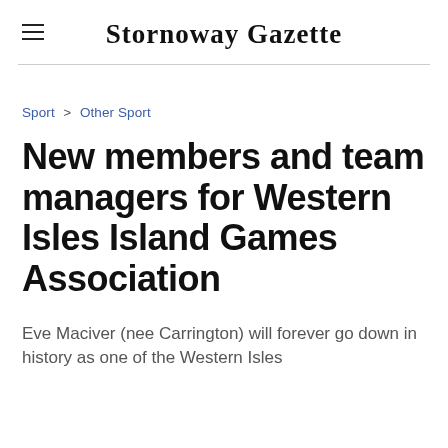Stornoway Gazette
Sport > Other Sport
New members and team managers for Western Isles Island Games Association
Eve Maciver (nee Carrington) will forever go down in history as one of the Western Isles